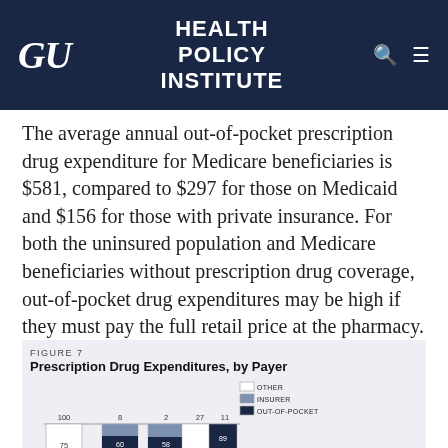GU  HEALTH POLICY INSTITUTE
The average annual out-of-pocket prescription drug expenditure for Medicare beneficiaries is $581, compared to $297 for those on Medicaid and $156 for those with private insurance. For both the uninsured population and Medicare beneficiaries without prescription drug coverage, out-of-pocket drug expenditures may be high if they must pay the full retail price at the pharmacy.
[Figure (stacked-bar-chart): Prescription Drug Expenditures, by Payer]